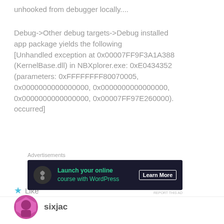unhooked from debugger locally....
Debug->Other debug targets->Debug installed app package yields the following [Unhandled exception at 0x00007FF9F3A1A388 (KernelBase.dll) in NBXplorer.exe: 0xE0434352 (parameters: 0xFFFFFFFF80070005, 0x0000000000000000, 0x0000000000000000, 0x0000000000000000, 0x00007FF97E260000). occurred]
Like
Advertisements
[Figure (other): Advertisement banner: dark background with a bonsai tree icon, text 'Launch your online course with WordPress' and a 'Learn More' button]
REPORT THIS AD
sixjac